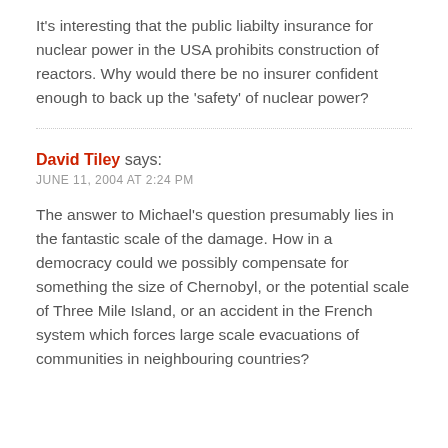It's interesting that the public liabilty insurance for nuclear power in the USA prohibits construction of reactors. Why would there be no insurer confident enough to back up the 'safety' of nuclear power?
David Tiley says:
JUNE 11, 2004 AT 2:24 PM
The answer to Michael's question presumably lies in the fantastic scale of the damage. How in a democracy could we possibly compensate for something the size of Chernobyl, or the potential scale of Three Mile Island, or an accident in the French system which forces large scale evacuations of communities in neighbouring countries?